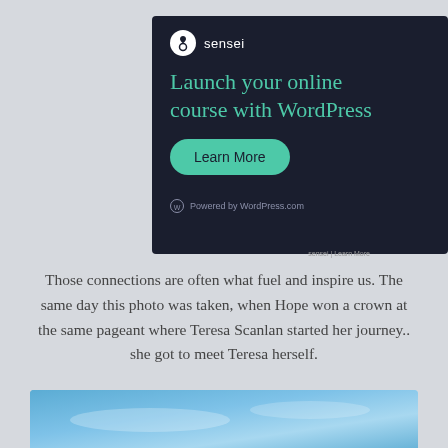[Figure (screenshot): Sensei advertisement banner: dark navy background with Sensei logo (white circle with tree icon and 'sensei' text), large teal heading 'Launch your online course with WordPress', a teal 'Learn More' rounded button, and 'Powered by WordPress.com' footer text.]
Those connections are often what fuel and inspire us. The same day this photo was taken, when Hope won a crown at the same pageant where Teresa Scanlan started her journey.. she got to meet Teresa herself.
[Figure (photo): Partial photo showing a blue sky with light clouds.]